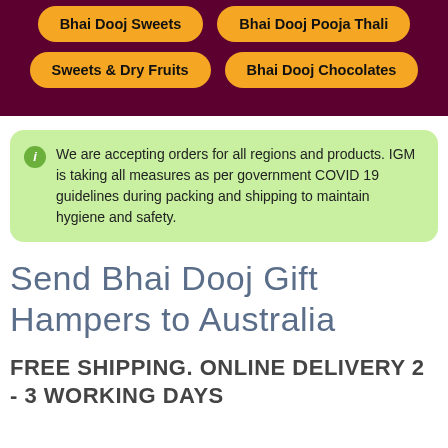Bhai Dooj Sweets
Bhai Dooj Pooja Thali
Sweets & Dry Fruits
Bhai Dooj Chocolates
We are accepting orders for all regions and products. IGM is taking all measures as per government COVID 19 guidelines during packing and shipping to maintain hygiene and safety.
Send Bhai Dooj Gift Hampers to Australia
FREE SHIPPING. ONLINE DELIVERY 2 - 3 WORKING DAYS